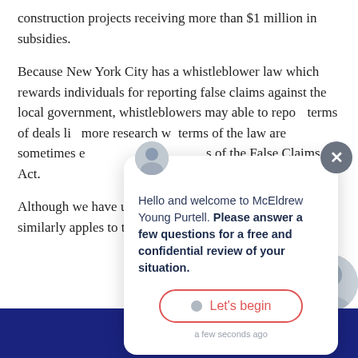construction projects receiving more than $1 million in subsidies.
Because New York City has a whistleblower law which rewards individuals for reporting false claims against the local government, whistleblowers may able to report... terms of deals li... more research w... terms of the law... are sometimes e... s of the False Claims Act.
[Figure (screenshot): Chat popup widget from McEldrew Young Purtell law firm with greeting message, bold call to action text 'Please answer a few questions for a free and confidential review of your situation.', a 'Let's begin' button with red border, and a close X button. Avatar photo of attorney at top left of popup.]
Although we have used New York City in this example, it similarly apples to the Philadelp...
[Figure (photo): Partial photo of attorney at bottom right corner]
Call Now